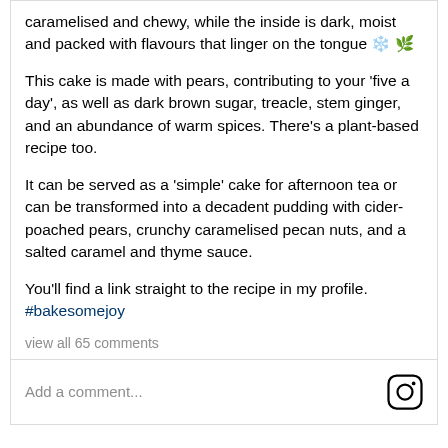caramelised and chewy, while the inside is dark, moist and packed with flavours that linger on the tongue 🌸🍂
This cake is made with pears, contributing to your 'five a day', as well as dark brown sugar, treacle, stem ginger, and an abundance of warm spices. There's a plant-based recipe too.
It can be served as a 'simple' cake for afternoon tea or can be transformed into a decadent pudding with cider-poached pears, crunchy caramelised pecan nuts, and a salted caramel and thyme sauce.
You'll find a link straight to the recipe in my profile. #bakesomejoy
view all 65 comments
Add a comment...
Poached pears with salted caramel & thyme sauce
500 ml pear cider